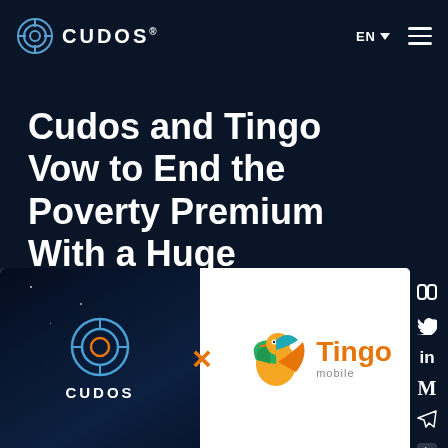CUDOS®
Cudos and Tingo Vow to End the Poverty Premium With a Huge Partnership
[Figure (logo): Partnership image showing Cudos logo on dark background on the left, an orange X in the center, and Tingo Mobile bird logo with orange text on white background on the right]